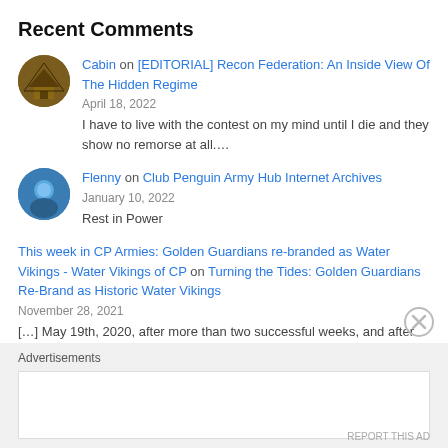Recent Comments
Cabin on [EDITORIAL] Recon Federation: An Inside View Of The Hidden Regime
April 18, 2022
I have to live with the contest on my mind until I die and they show no remorse at all....
Flenny on Club Penguin Army Hub Internet Archives
January 10, 2022
Rest in Power
This week in CP Armies: Golden Guardians re-branded as Water Vikings - Water Vikings of CP on Turning the Tides: Golden Guardians Re-Brand as Historic Water Vikings
November 28, 2021
[...] May 19th, 2020, after more than two successful weeks, and after being considered one of the biggest new generation...
Advertisements
REPORT THIS AD